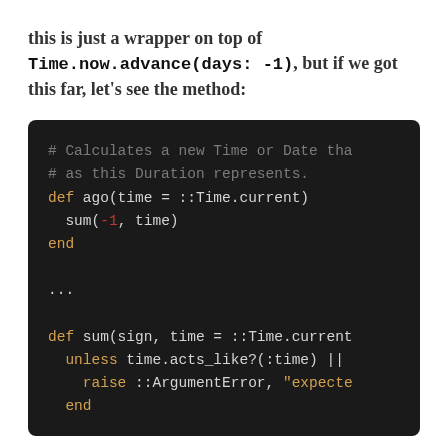As the comment at the top of this class mentions, this is just a wrapper on top of Time.now.advance(days: -1), but if we got this far, let's see the method:
[Figure (screenshot): Dark-themed code block showing Ruby code: a comment about calculating a new Time or Date, def ago method calling sum(-1, time), and def sum method with unless time.acts_like?(:time) check raising ArgumentError.]